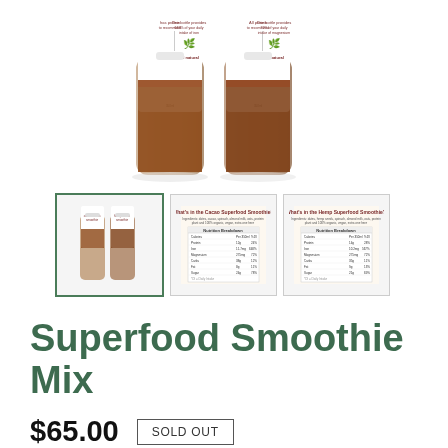[Figure (photo): Two smoothie bottles with white labels showing superfood smoothie branding, partially filled with dark brownish liquid, displayed on white background]
[Figure (photo): Thumbnail 1: Two superfood smoothie bottles side by side with white labels]
[Figure (photo): Thumbnail 2: Nutrition facts label page for the superfood smoothie (cacao variant)]
[Figure (photo): Thumbnail 3: Nutrition facts label page for the superfood smoothie (hemp variant)]
Superfood Smoothie Mix
$65.00
SOLD OUT